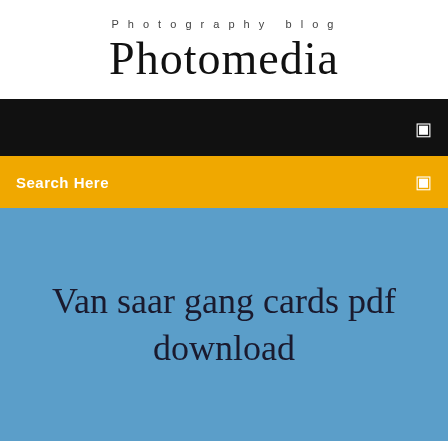Photography blog
Photomedia
[Figure (screenshot): Black navigation bar with white hamburger/menu icon on the right]
Search Here
Van saar gang cards pdf download